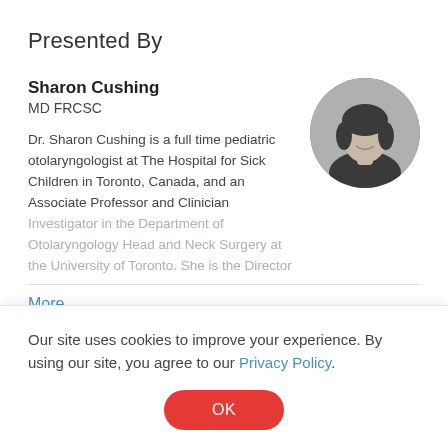Presented By
Sharon Cushing
MD FRCSC

Dr. Sharon Cushing is a full time pediatric otolaryngologist at The Hospital for Sick Children in Toronto, Canada, and an Associate Professor and Clinician Investigator in the Department of Otolaryngology Head and Neck Surgery at the University of Toronto. She is the Director
[Figure (photo): Circular black and white portrait photo of Sharon Cushing, a woman with curly hair wearing a dark blazer, smiling.]
More
Katheryn Bachmann
PhD
[Figure (photo): Partial circular black and white portrait photo of Katheryn Bachmann, cropped at bottom of page.]
Our site uses cookies to improve your experience. By using our site, you agree to our Privacy Policy.